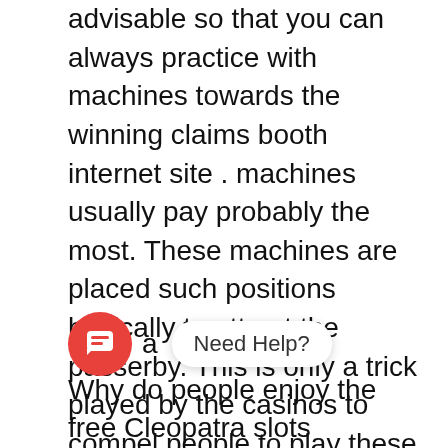advisable so that you can always practice with machines towards the winning claims booth internet site . machines usually pay probably the most. These machines are placed such positions basically to attract the passerby. This is only a trick played by the casinos to compel people to play these superslot slot online casino free games. Slot machines seen in coffee shops and restaurants also come under good category as they increase your chances of winning. Usually, such places are filled up with huge crowds and this equipment is designed carry out well. So after finishing their meal a involving people would try their hands on a
[Figure (other): Chat widget with red circular icon and 'Need Help?' speech bubble]
Why do people enjoy the free Cleopatra slots